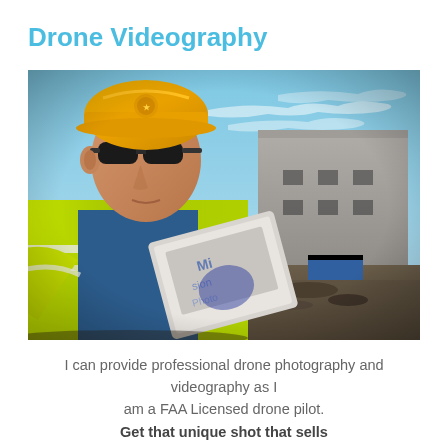Drone Videography
[Figure (photo): A man wearing a yellow hard hat, safety sunglasses, and a high-visibility yellow vest holding a drone controller/device, standing at a construction site with a concrete building and blue sky in the background.]
I can provide professional drone photography and videography as I am a FAA Licensed drone pilot.
Get that unique shot that sells